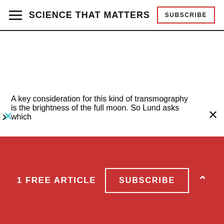SCIENCE THAT MATTERS | SUBSCRIBE
A key consideration for this kind of transmography is the brightness of the full moon. So Lund asks which
1 FREE ARTICLE  SUBSCRIBE